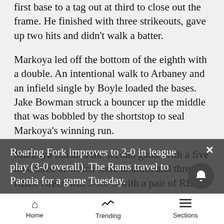first base to a tag out at third to close out the frame. He finished with three strikeouts, gave up two hits and didn't walk a batter.
Markoya led off the bottom of the eighth with a double. An intentional walk to Arbaney and an infield single by Boyle loaded the bases. Jake Bowman struck a bouncer up the middle that was bobbled by the shortstop to seal Markoya's winning run.
Markoya finished the second game with a five hits, three of which were doubles and three RBIs. Green was 3-for-5 with a pair of RBIs and Bowman and Boyle were 4-for-5 and 3-for-5, respectively.
Roaring Fork improves to 2-0 in league play (3-0 overall). The Rams travel to Paonia for a game Tuesday.
Home   Trending   Sections